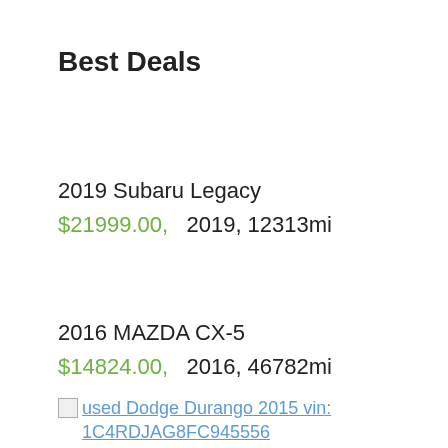Best Deals
2019 Subaru Legacy
$21999.00,   2019, 12313mi
2016 MAZDA CX-5
$14824.00,   2016, 46782mi
used Dodge Durango 2015 vin: 1C4RDJAG8FC945556